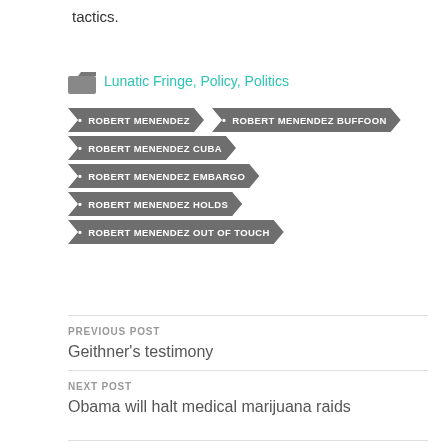tactics.
Lunatic Fringe, Policy, Politics
ROBERT MENENDEZ
ROBERT MENENDEZ BUFFOON
ROBERT MENENDEZ CUBA
ROBERT MENENDEZ EMBARGO
ROBERT MENENDEZ HOLDS
ROBERT MENENDEZ OUT OF TOUCH
PREVIOUS POST
Geithner's testimony
NEXT POST
Obama will halt medical marijuana raids